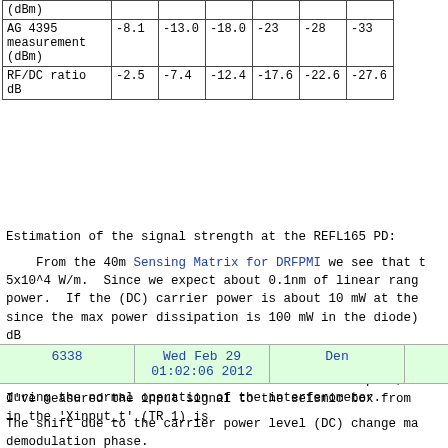|  |  |  |  |  |  |  |
| --- | --- | --- | --- | --- | --- | --- |
| (dBm) |  |  |  |  |  |  |
| AG 4395 measurement (dBm) | -8.1 | -13.0 | -18.0 | -23 | -28 | -33 |
| RF/DC ratio dB | -2.5 | -7.4 | -12.4 | -17.6 | -22.6 | -27.6 |
Estimation of the signal strength at the REFL165 PD:
From the 40m Sensing Matrix for DRFPMI we see that t 5x10^4 W/m.  Since we expect about 0.1nm of linear rang power.  If the (DC) carrier power is about 10 mW at the since the max power dissipation is 100 mW in the diode) dB
As this is lower than the power levels at which the PD noted the distorsion and shift of the resonance peak, i during the normal operation of the interferometer.
The shift due to the carrier power level (DC) change ma demodulation phase.
6338    Wed Feb 29 01:02:06 2012    Den
I've measured the input signal to the seismic box from in the 'Xinput_t' (TR 1) is